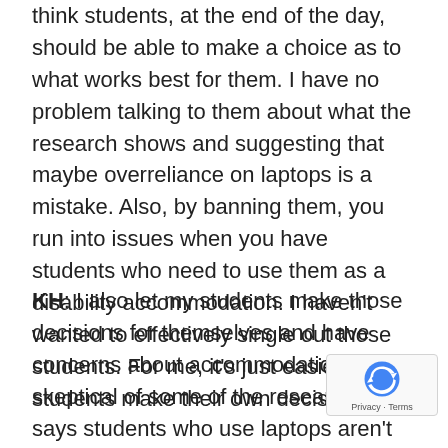think students, at the end of the day, should be able to make a choice as to what works best for them. I have no problem talking to them about what the research shows and suggesting that maybe overreliance on laptops is a mistake. Also, by banning them, you run into issues when you have students who need to use them as a disability accommodation. I haven't wanted to effectively single out those students. For me, it's just easier to let students make their own decision.
KH: I also let my students make those decisions for themselves and have concerns about accommodations. I am skeptical of some of the research that says students who use laptops aren't retaining information in the same way. I'm sure that's true and today's students are not retaining information in the same way, but I also wonder whether we actually want to